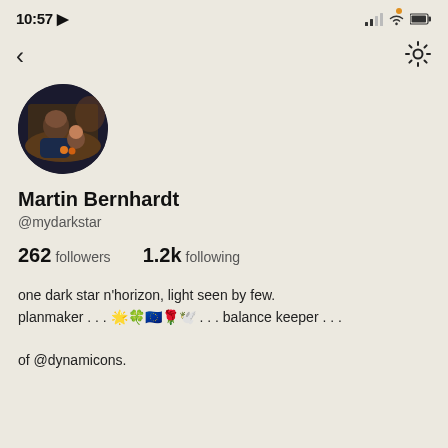10:57
[Figure (photo): Profile photo of Martin Bernhardt with a baby, circular crop]
Martin Bernhardt
@mydarkstar
262 followers   1.2k following
one dark star n'horizon, light seen by few.
planmaker . . . 🌟🍀🇪🇺🌹🕊️ . . . balance keeper . . .

of @dynamicons.